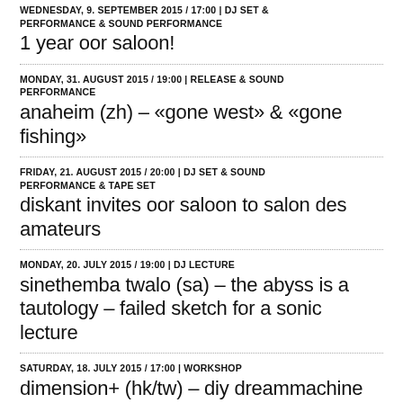WEDNESDAY, 9. SEPTEMBER 2015 / 17:00 | DJ SET & PERFORMANCE & SOUND PERFORMANCE
1 year oor saloon!
MONDAY, 31. AUGUST 2015 / 19:00 | RELEASE & SOUND PERFORMANCE
anaheim (zh) – «gone west» & «gone fishing»
FRIDAY, 21. AUGUST 2015 / 20:00 | DJ SET & SOUND PERFORMANCE & TAPE SET
diskant invites oor saloon to salon des amateurs
MONDAY, 20. JULY 2015 / 19:00 | DJ LECTURE
sinethemba twalo (sa) – the abyss is a tautology – failed sketch for a sonic lecture
SATURDAY, 18. JULY 2015 / 17:00 | WORKSHOP
dimension+ (hk/tw) – diy dreammachine